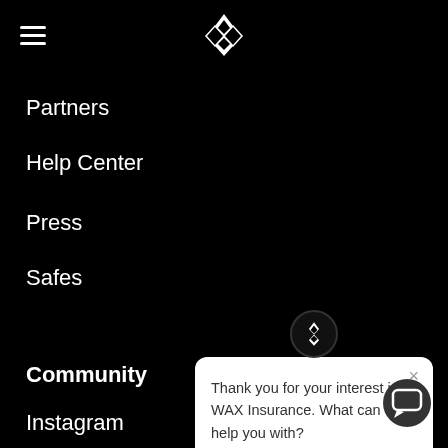WAX Insurance navigation header with hamburger menu and logo
Partners
Help Center
Press
Safes
Community
Instagram
YouTube
Twitter
[Figure (screenshot): Chat popup widget with WAX Insurance logo at top, close X button, and text: Thank you for your interest in WAX Insurance. What can we help you with?]
[Figure (other): Chat support button icon at bottom right corner]